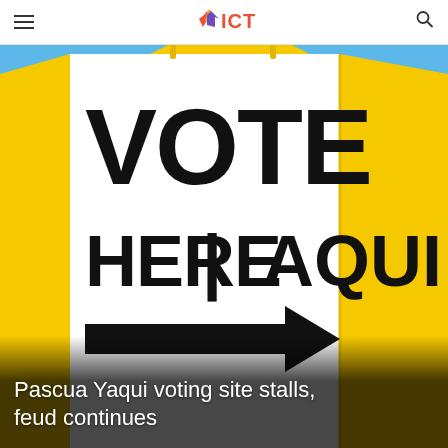ICT
[Figure (photo): A yellow A-frame sandwich board sign reading 'VOTE HERE / AQUI' with a black arrow pointing right, photographed close-up against a blue sky with a building and white car visible in the background.]
Pascua Yaqui voting site stalls, feud continues